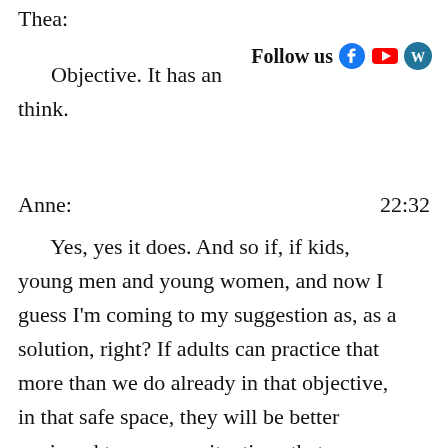Thea:
Follow us
Objective. It has an think.
Anne:   22:32
Yes, yes it does. And so if, if kids, young men and young women, and now I guess I'm coming to my suggestion as, as a solution, right? If adults can practice that more than we do already in that objective, in that safe space, they will be better equipped to manage situations that come up in the subjective or more private space